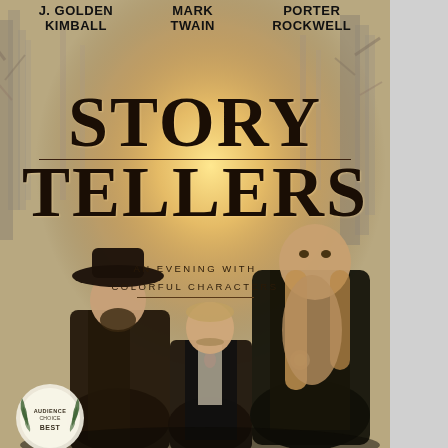[Figure (illustration): Movie/show cover art for 'Storytellers: An Evening with Colorful Characters' featuring three actors portraying J. Golden Kimball, Mark Twain, and Porter Rockwell standing in a misty forest with dramatic backlighting. An 'Audience Choice Best' award laurel badge appears in the bottom left corner.]
J. GOLDEN KIMBALL   MARK TWAIN   PORTER ROCKWELL
STORY TELLERS
AN EVENING WITH COLORFUL CHARACTERS